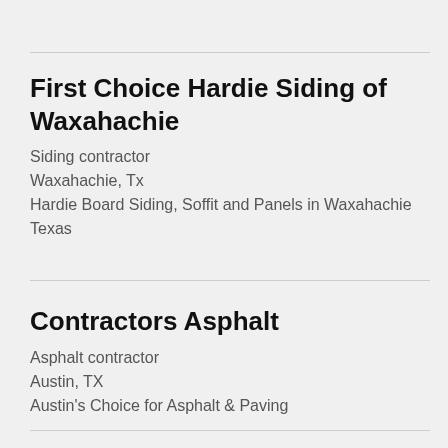First Choice Hardie Siding of Waxahachie
Siding contractor
Waxahachie, Tx
Hardie Board Siding, Soffit and Panels in Waxahachie Texas
Contractors Asphalt
Asphalt contractor
Austin, TX
Austin's Choice for Asphalt & Paving